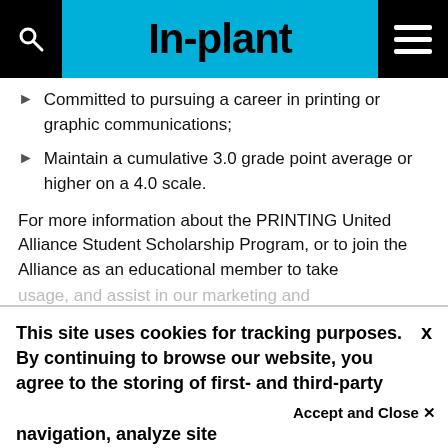In-plant
Committed to pursuing a career in printing or graphic communications;
Maintain a cumulative 3.0 grade point average or higher on a 4.0 scale.
For more information about the PRINTING United Alliance Student Scholarship Program, or to join the Alliance as an educational member to take
This site uses cookies for tracking purposes. By continuing to browse our website, you agree to the storing of first- and third-party cookies on your device to enhance site navigation, analyze site
usage, and assist in our marketing and
Accept and Close ✕
Your browser settings do not allow cross-site tracking for advertising. Click on this page to allow AdRoll to use cross-site tracking to tailor ads to you. Learn more or opt out of this AdRoll tracking by clicking here. This message only appears once.